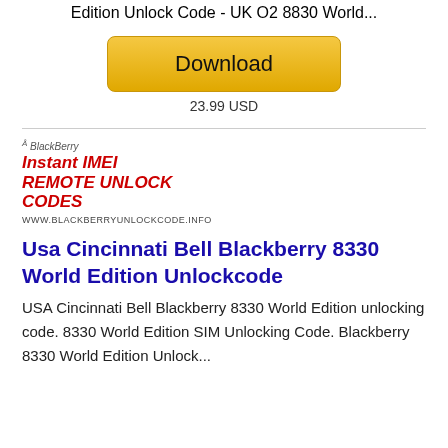Edition Unlock Code - UK O2 8830 World...
[Figure (other): Download button with golden gradient background]
23.99 USD
[Figure (logo): BlackBerry Instant IMEI Remote Unlock Codes logo with www.BlackBerryUnlockCode.info URL]
Usa Cincinnati Bell Blackberry 8330 World Edition Unlockcode
USA Cincinnati Bell Blackberry 8330 World Edition unlocking code. 8330 World Edition SIM Unlocking Code. Blackberry 8330 World Edition Unlock...